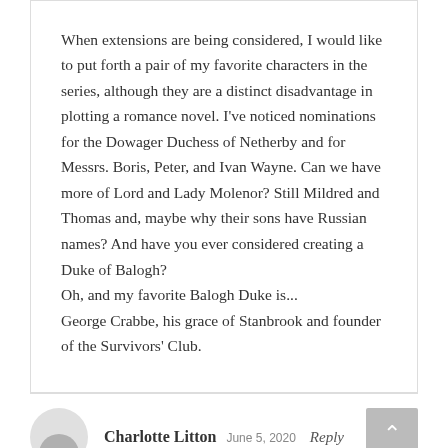When extensions are being considered, I would like to put forth a pair of my favorite characters in the series, although they are a distinct disadvantage in plotting a romance novel. I've noticed nominations for the Dowager Duchess of Netherby and for Messrs. Boris, Peter, and Ivan Wayne. Can we have more of Lord and Lady Molenor? Still Mildred and Thomas and, maybe why their sons have Russian names? And have you ever considered creating a Duke of Balogh?
Oh, and my favorite Balogh Duke is...
George Crabbe, his grace of Stanbrook and founder of the Survivors' Club.
Charlotte Litton   June 5, 2020   Reply
I love your books. My favorite is usually the one I'm